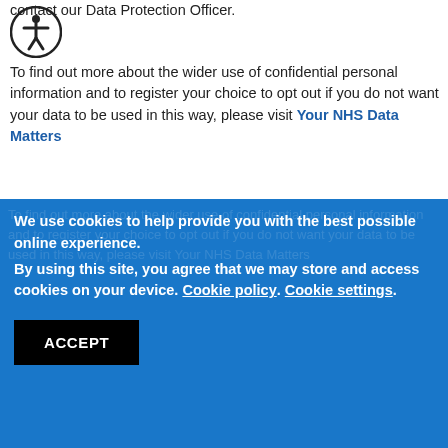contact our Data Protection Officer.
To find out more about the wider use of confidential personal information and to register your choice to opt out if you do not want your data to be used in this way, please visit Your NHS Data Matters
We use cookies to help provide you with the best possible online experience.
By using this site, you agree that we may store and access cookies on your device. Cookie policy. Cookie settings.
ACCEPT